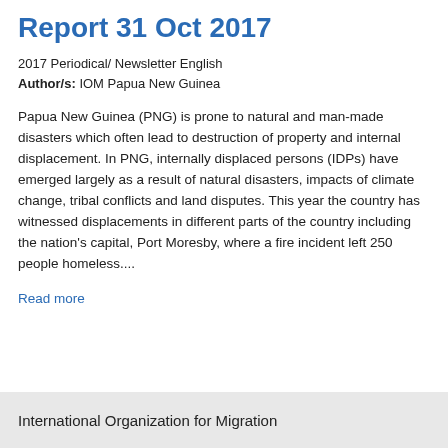Report 31 Oct 2017
2017 Periodical/ Newsletter English
Author/s: IOM Papua New Guinea
Papua New Guinea (PNG) is prone to natural and man-made disasters which often lead to destruction of property and internal displacement. In PNG, internally displaced persons (IDPs) have emerged largely as a result of natural disasters, impacts of climate change, tribal conflicts and land disputes. This year the country has witnessed displacements in different parts of the country including the nation's capital, Port Moresby, where a fire incident left 250 people homeless....
Read more
International Organization for Migration